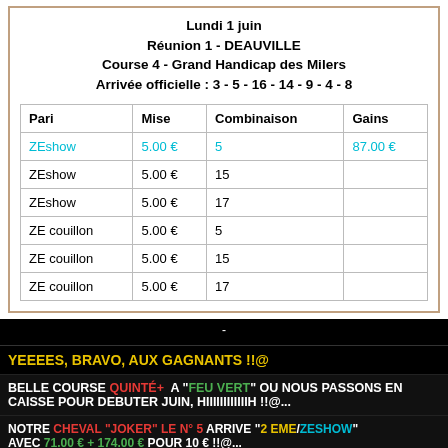Lundi 1 juin
Réunion 1 - DEAUVILLE
Course 4 - Grand Handicap des Milers
Arrivée officielle : 3 - 5 - 16 - 14 - 9 - 4 - 8
| Pari | Mise | Combinaison | Gains |
| --- | --- | --- | --- |
| ZEshow | 5.00 € | 5 | 87.00 € |
| ZEshow | 5.00 € | 15 |  |
| ZEshow | 5.00 € | 17 |  |
| ZE couillon | 5.00 € | 5 |  |
| ZE couillon | 5.00 € | 15 |  |
| ZE couillon | 5.00 € | 17 |  |
-
YEEEES, BRAVO, AUX GAGNANTS !!@
BELLE COURSE QUINTÉ+  A "FEU VERT" OU NOUS PASSONS EN CAISSE POUR DEBUTER JUIN, HIIIIIIIIIIIIH !!@...
NOTRE CHEVAL "JOKER" LE N° 5 ARRIVE "2 EME/ZESHOW"
AVEC 71.00 € + 174.00 € POUR 10 € !!@...